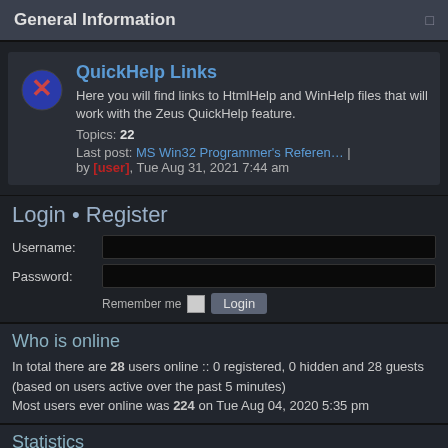General Information
QuickHelp Links
Here you will find links to HtmlHelp and WinHelp files that will work with the Zeus QuickHelp feature.
Topics: 22
Last post: MS Win32 Programmer's Referen… | by [user], Tue Aug 31, 2021 7:44 am
Login • Register
Username:
Password:
Remember me  Login
Who is online
In total there are 28 users online :: 0 registered, 0 hidden and 28 guests (based on users active over the past 5 minutes)
Most users ever online was 224 on Tue Aug 04, 2020 5:35 pm
Statistics